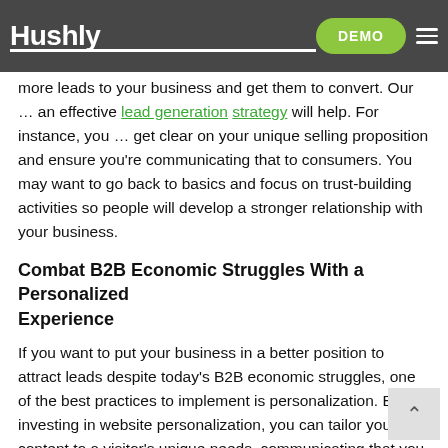Hushly | DEMO navigation bar
more leads to your business and get them to convert. Our … an effective lead generation strategy will help. For instance, you … get clear on your unique selling proposition and ensure you're communicating that to consumers. You may want to go back to basics and focus on trust-building activities so people will develop a stronger relationship with your business.
Combat B2B Economic Struggles With a Personalized Experience
If you want to put your business in a better position to attract leads despite today's B2B economic struggles, one of the best practices to implement is personalization. By investing in website personalization, you can tailor your content to a visitor's unique needs, communicating that you truly understand what they want from you. In tu… you'll see your conversion rate soar.